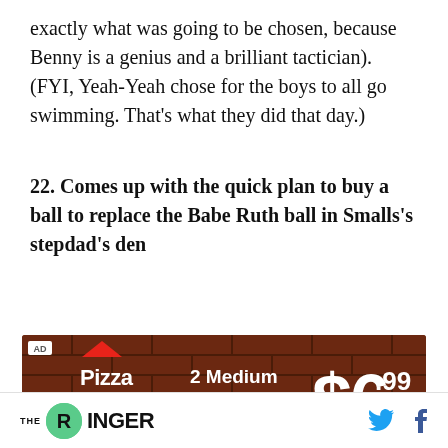exactly what was going to be chosen, because Benny is a genius and a brilliant tactician). (FYI, Yeah-Yeah chose for the boys to all go swimming. That’s what they did that day.)
22. Comes up with the quick plan to buy a ball to replace the Babe Ruth ball in Smalls’s stepdad’s den
[Figure (photo): Pizza Hut advertisement on brick background: 2 Medium 1-Topping Pizzas $6.99 Each Carryout Only]
THE RINGER